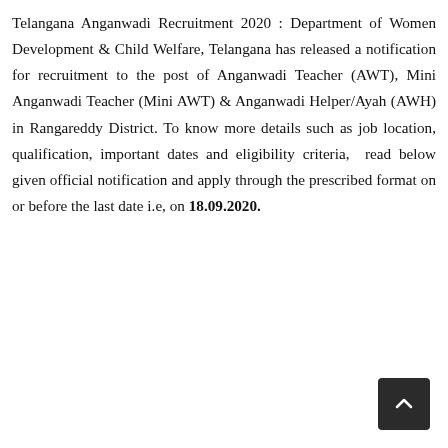Telangana Anganwadi Recruitment 2020 : Department of Women Development & Child Welfare, Telangana has released a notification for recruitment to the post of Anganwadi Teacher (AWT), Mini Anganwadi Teacher (Mini AWT) & Anganwadi Helper/Ayah (AWH) in Rangareddy District. To know more details such as job location, qualification, important dates and eligibility criteria,  read below given official notification and apply through the prescribed format on or before the last date i.e, on 18.09.2020.